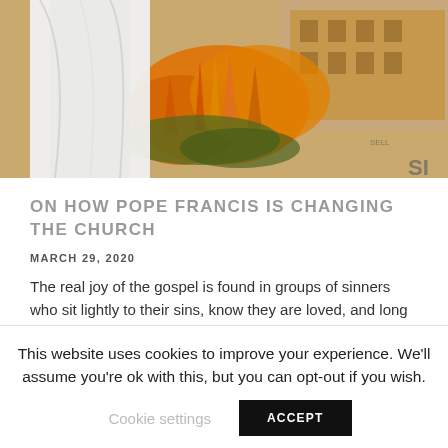[Figure (photo): Photo of Pope Francis in white vestments with orange tropical flowers and a European building/square in background]
ON HOW POPE FRANCIS IS CHANGING THE CHURCH
MARCH 29, 2020
The real joy of the gospel is found in groups of sinners who sit lightly to their sins, know they are loved, and long to love better starting from where they are.
7 MINS READ
This website uses cookies to improve your experience. We'll assume you're ok with this, but you can opt-out if you wish.